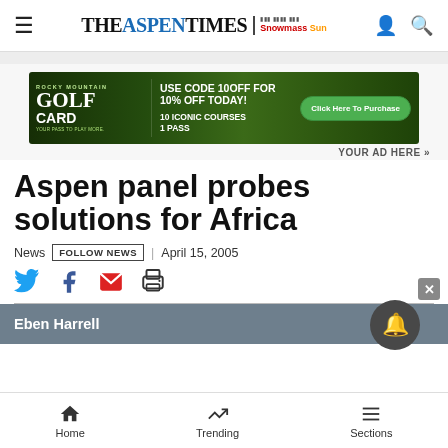THE ASPEN TIMES | Snowmass Sun
[Figure (infographic): Golf Card advertisement banner: Rocky Mountain Golf Card. USE CODE 10OFF FOR 10% OFF TODAY! 10 ICONIC COURSES 1 PASS. Click Here To Purchase.]
YOUR AD HERE »
Aspen panel probes solutions for Africa
News  FOLLOW NEWS  | April 15, 2005
Eben Harrell
Home  Trending  Sections